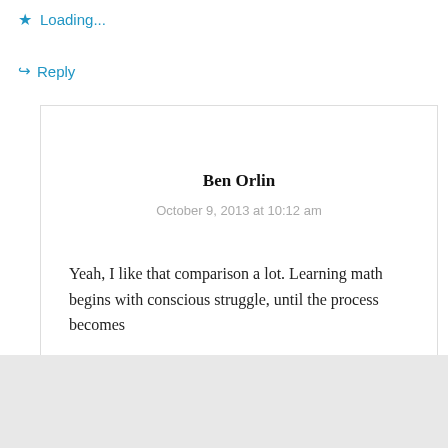Loading...
↪ Reply
Ben Orlin
October 9, 2013 at 10:12 am
Yeah, I like that comparison a lot. Learning math begins with conscious struggle, until the process becomes
Advertisements
[Figure (photo): Macy's advertisement banner: 'KISS BORING LIPS GOODBYE' with SHOP NOW button and Macy's logo, featuring a woman with red lips]